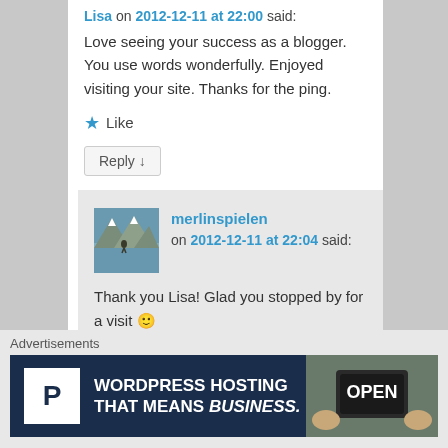Lisa on 2012-12-11 at 22:00 said:
Love seeing your success as a blogger. You use words wonderfully. Enjoyed visiting your site. Thanks for the ping.
Like
Reply ↓
[Figure (photo): Avatar photo of merlinspielen showing a person by a mountain lake]
merlinspielen on 2012-12-11 at 22:04 said:
Thank you Lisa! Glad you stopped by for a visit 🙂
Advertisements
[Figure (infographic): WordPress hosting advertisement banner: P logo, text WORDPRESS HOSTING THAT MEANS BUSINESS., Open sign photo on the right]